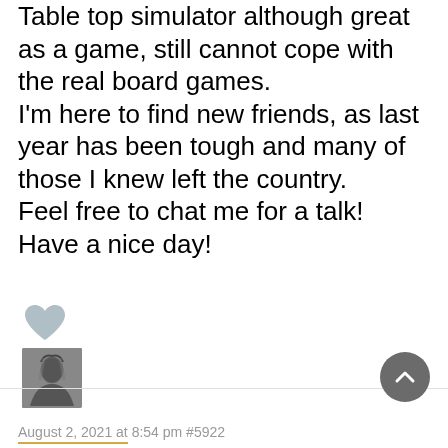Table top simulator although great as a game, still cannot cope with the real board games.
I'm here to find new friends, as last year has been tough and many of those I knew left the country.
Feel free to chat me for a talk!
Have a nice day!
[Figure (illustration): Gray heart icon (like/reaction button)]
[Figure (photo): Small square avatar thumbnail of a person with long dark hair, grayscale]
August 2, 2021 at 8:54 pm #5922